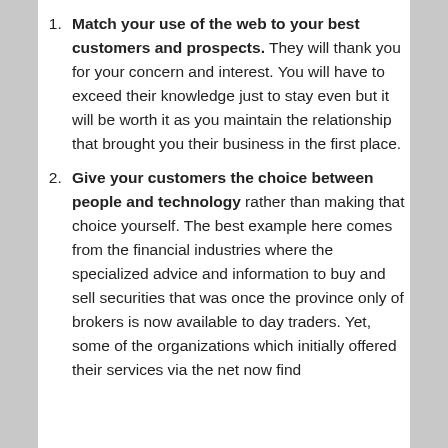Match your use of the web to your best customers and prospects. They will thank you for your concern and interest. You will have to exceed their knowledge just to stay even but it will be worth it as you maintain the relationship that brought you their business in the first place.
Give your customers the choice between people and technology rather than making that choice yourself. The best example here comes from the financial industries where the specialized advice and information to buy and sell securities that was once the province only of brokers is now available to day traders. Yet, some of the organizations which initially offered their services via the net now find